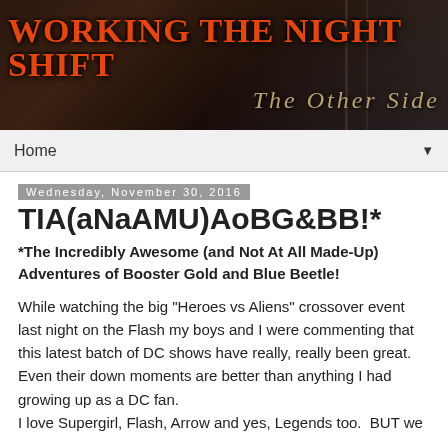[Figure (illustration): Blog banner image with dark fantasy background. Orange text reads 'Working The Night Shift' on the left. Stylized golden/grey text reads 'The Other Side' on the right.]
Home ▼
Wednesday, November 30, 2016
TIA(aNaAMU)AoBG&BB!*
*The Incredibly Awesome (and Not At All Made-Up) Adventures of Booster Gold and Blue Beetle!
While watching the big "Heroes vs Aliens" crossover event last night on the Flash my boys and I were commenting that this latest batch of DC shows have really, really been great. Even their down moments are better than anything I had growing up as a DC fan.
I love Supergirl, Flash, Arrow and yes, Legends too.  BUT we